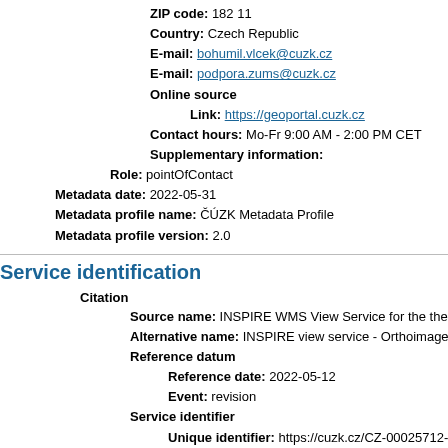ZIP code: 182 11
Country: Czech Republic
E-mail: bohumil.vlcek@cuzk.cz
E-mail: podpora.zums@cuzk.cz
Online source
Link: https://geoportal.cuzk.cz
Contact hours: Mo-Fr 9:00 AM - 2:00 PM CET
Supplementary information:
Role: pointOfContact
Metadata date: 2022-05-31
Metadata profile name: ČÚZK Metadata Profile
Metadata profile version: 2.0
Service identification
Citation
Source name: INSPIRE WMS View Service for the theme Orthoimag
Alternative name: INSPIRE view service - Orthoimagery (OI)
Reference datum
Reference date: 2022-05-12
Event: revision
Service identifier
Unique identifier: https://cuzk.cz/CZ-00025712-CUZK_WMS_IN
Contact to the organisation responsible for the service
Name of the organisation: Czech Office for Surveying, Mapping and